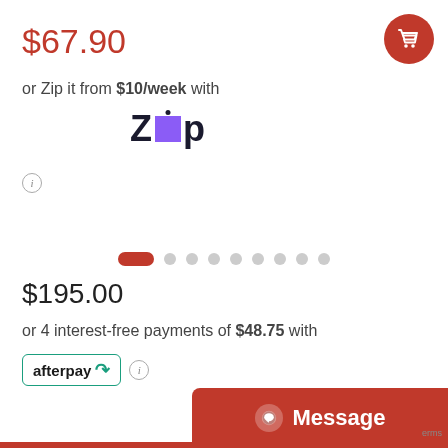$67.90
or Zip it from $10/week with
[Figure (logo): Zip payment logo with purple square between Z and P]
[Figure (infographic): Carousel navigation dots: one red pill followed by 8 grey circles]
$195.00
or 4 interest-free payments of $48.75 with
[Figure (logo): Afterpay logo badge with teal border]
[Figure (logo): Shopping cart icon button (red circle, top right)]
[Figure (logo): Message button (red, bottom right)]